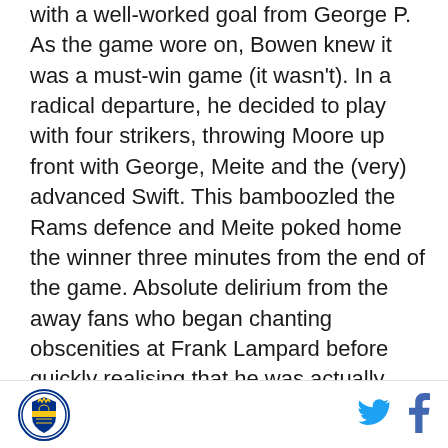with a well-worked goal from George P. As the game wore on, Bowen knew it was a must-win game (it wasn't). In a radical departure, he decided to play with four strikers, throwing Moore up front with George, Meite and the (very) advanced Swift. This bamboozled the Rams defence and Meite poked home the winner three minutes from the end of the game. Absolute delirium from the away fans who began chanting obscenities at Frank Lampard before quickly realising that he was actually managing Chelsea. Sooooo embarrassing!

As a result of this result, Reading found themselves in ninth place (largely down to results and circumstances that I can't be bothered/don't have the capacity to work
[Figure (logo): Reading FC club crest logo in a circle]
[Figure (logo): Twitter bird icon in blue]
[Figure (logo): Facebook f icon in blue]